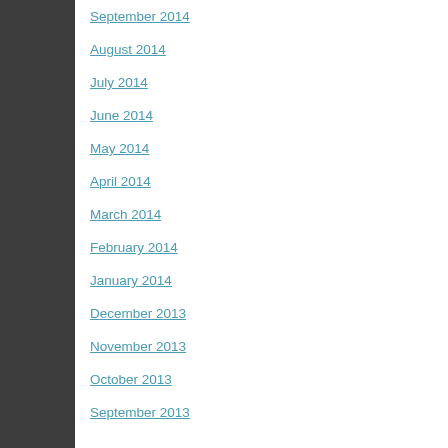September 2014
August 2014
July 2014
June 2014
May 2014
April 2014
March 2014
February 2014
January 2014
December 2013
November 2013
October 2013
September 2013
Facebook